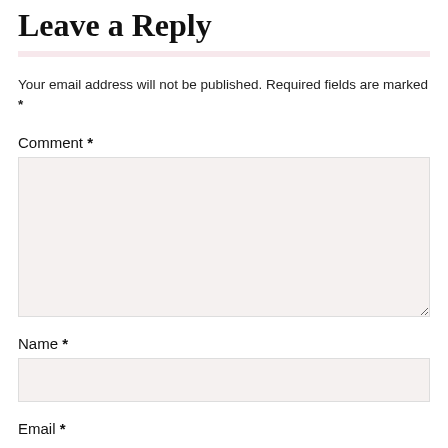Leave a Reply
Your email address will not be published. Required fields are marked *
Comment *
[Figure (other): Comment text area input field with light beige background]
Name *
[Figure (other): Name text input field with light beige background]
Email *